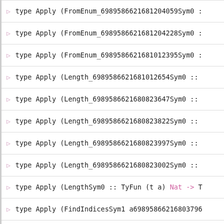type Apply (FromEnum_6989586621681204059Sym0 :
type Apply (FromEnum_6989586621681204228Sym0 :
type Apply (FromEnum_6989586621681012395Sym0 :
type Apply (Length_6989586621681012654Sym0 ::
type Apply (Length_6989586621680823647Sym0 ::
type Apply (Length_6989586621680823822Sym0 ::
type Apply (Length_6989586621680823997Sym0 ::
type Apply (Length_6989586621680823002Sym0 ::
type Apply (LengthSym0 :: TyFun (t a) Nat -> T
type Apply (FindIndicesSym1 a698958662168037960
type Apply (ElemIndicesSym1 a698958662168037960
type Apply (FindIndexSym1 a6989586621680379652
type Apply (ElemIndexSym1 a6989586621680379670